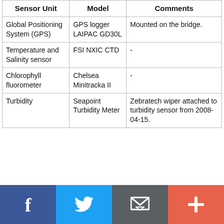| Sensor Unit | Model | Comments |
| --- | --- | --- |
| Global Positioning System (GPS) | GPS logger LAIPAC GD30L | Mounted on the bridge. |
| Temperature and Salinity sensor | FSI NXIC CTD | - |
| Chlorophyll fluorometer | Chelsea Minitracka II | - |
| Turbidity | Seapoint Turbidity Meter | Zebratech wiper attached to turbidity sensor from 2008-04-15. |
[Figure (other): Social media sharing bar with four buttons: Facebook (blue), Twitter (light blue), Email/envelope (dark grey), and Add/plus (red-orange)]